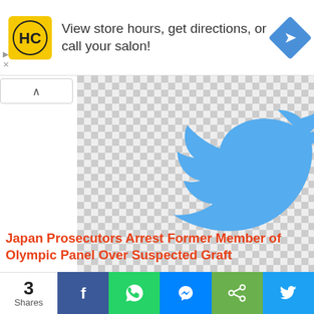[Figure (logo): Advertisement banner: HC salon logo (yellow square with HC letters), text 'View store hours, get directions, or call your salon!', blue navigation arrow diamond icon]
[Figure (logo): Twitter bird logo on checkered (transparent) background]
Japan Prosecutors Arrest Former Member of Olympic Panel Over Suspected Graft
[Figure (screenshot): Partial second row of Twitter bird images on checkered background]
[Figure (infographic): Social share bar: 3 Shares count, Facebook, WhatsApp, Messenger, Share, Twitter buttons]